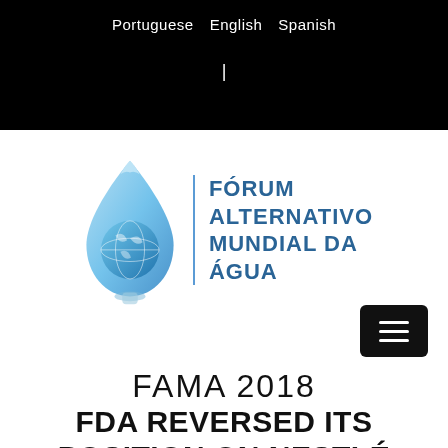Portuguese  English  Spanish
[Figure (logo): Fórum Alternativo Mundial da Água logo with water drop graphic and text]
FAMA 2018
FDA REVERSED ITS POSITION ON NESTLÉ BOTTLED WATER